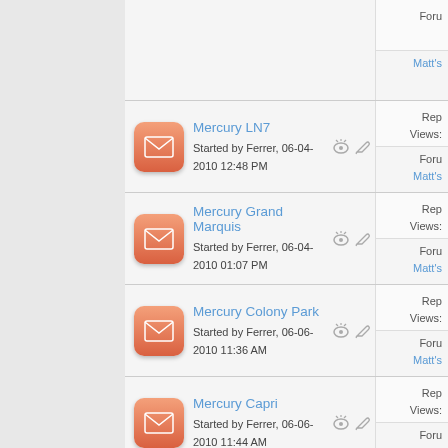Forum: Matt's [partial, top]
Mercury LN7 — Started by Ferrer, 06-04-2010 12:48 PM — Forum: Matt's
Mercury Grand Marquis — Started by Ferrer, 06-04-2010 01:07 PM — Forum: Matt's
Mercury Colony Park — Started by Ferrer, 06-06-2010 11:36 AM — Forum: Matt's
Mercury Capri — Started by Ferrer, 06-06-2010 11:44 AM — Forum: Matt's
Mercury Montclair — Rep [partial, bottom]